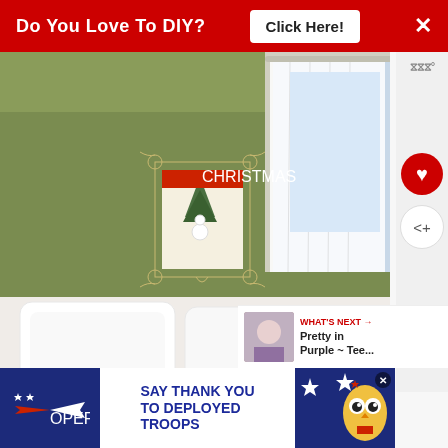[Figure (screenshot): Red banner advertisement: 'Do You Love To DIY? Click Here!' with white X close button]
[Figure (photo): Bedroom photo showing a green wall with a Christmas-themed wall art piece above a bed with white pillows, white curtains by a window, and flowers on the right side]
[Figure (screenshot): Bottom advertisement banner for Operation Gratitude: 'SAY THANK YOU TO DEPLOYED TROOPS' with patriotic imagery]
WHAT'S NEXT → Pretty in Purple ~ Tee...